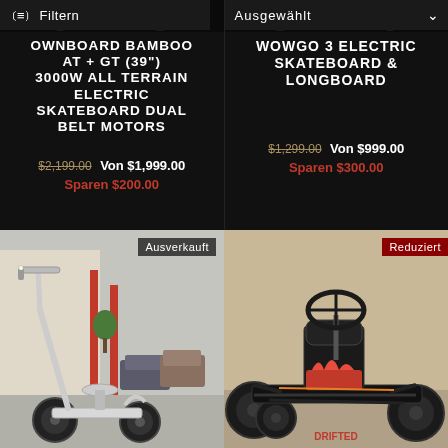[Figure (screenshot): E-commerce product listing screenshot showing two electric skateboards in top half and two products (scooter, go-kart) in bottom half with German UI labels (Filtern, Ausgewählt, Ausverkauft, Reduziert)]
Filtern
Ausgewählt
OWNBOARD BAMBOO AT + GT (39") 3000W ALL TERRAIN ELECTRIC SKATEBOARD DUAL BELT MOTORS
$2,199.00 Von $1,999.00 Sparen $200.00
WOWGO 3 ELECTRIC SKATEBOARD & LONGBOARD
$1,299.00 Von $999.00 Sparen $300.00
Ausverkauft
Reduziert